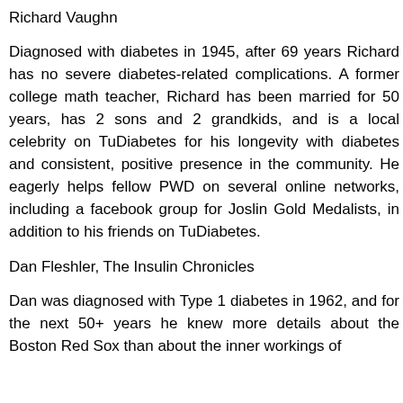Richard Vaughn
Diagnosed with diabetes in 1945, after 69 years Richard has no severe diabetes-related complications. A former college math teacher, Richard has been married for 50 years, has 2 sons and 2 grandkids, and is a local celebrity on TuDiabetes for his longevity with diabetes and consistent, positive presence in the community. He eagerly helps fellow PWD on several online networks, including a facebook group for Joslin Gold Medalists, in addition to his friends on TuDiabetes.
Dan Fleshler, The Insulin Chronicles
Dan was diagnosed with Type 1 diabetes in 1962, and for the next 50+ years he knew more details about the Boston Red Sox than about the inner workings of